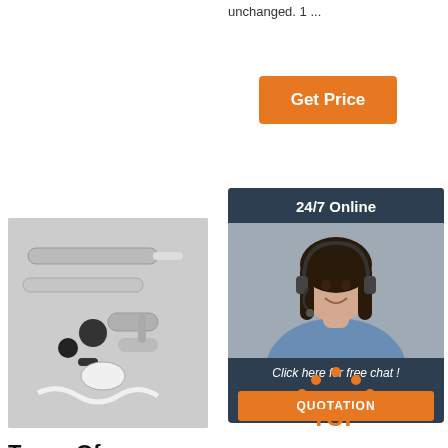unchanged. 1 ...
[Figure (other): Orange 'Get Price' button]
[Figure (other): 24/7 Online chat box with a woman wearing a headset, dark navy background, 'Click here for free chat!' text, and orange QUOTATION button]
[Figure (photo): Dental handpieces and components laid out on gray background]
Types Of Dental Handpieces
2019-12-18u2002·u2002Types of HandPieces: HandPieces are
[Figure (other): Orange TOP icon with dots forming an arc above the word TOP]